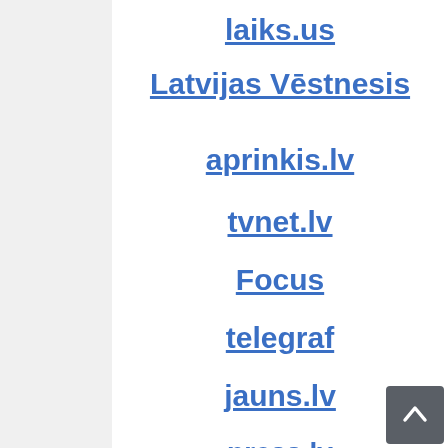laiks.us
Latvijas Vēstnesis
aprinkis.lv
tvnet.lv
Focus
telegraf
jauns.lv
press.lv